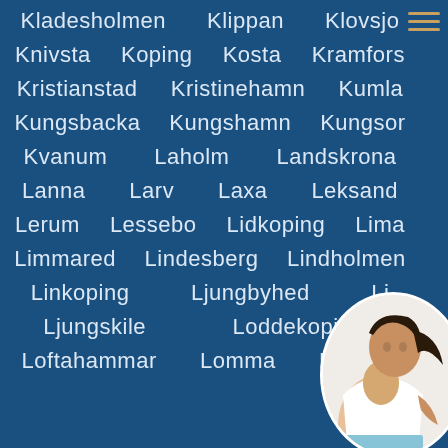Kladesholmen   Klippan   Klovsjo
Knivsta   Koping   Kosta   Kramfors
Kristianstad   Kristinehamn   Kumla
Kungsbacka   Kungshamn   Kungsor
Kvanum   Laholm   Landskrona
Lanna   Larv   Laxa   Leksand
Lerum   Lessebo   Lidkoping   Lima
Limmared   Lindesberg   Lindholmen
Linkoping   Ljungbyhed   Li...
Ljungskile   Loddekopinge
Loftahammar   Lomma   Ludvika
[Figure (photo): Circular profile photo of a woman in a white top, partially visible in lower right corner]